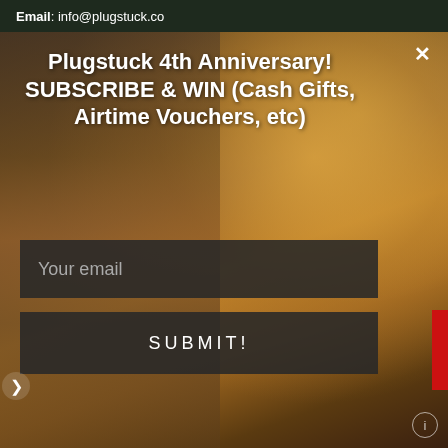Email: info@plugstuck.co
[Figure (photo): Background photo of a person holding multiple brown shopping bags, with warm golden bokeh background lighting]
Plugstuck 4th Anniversary! SUBSCRIBE & WIN (Cash Gifts, Airtime Vouchers, etc)
Your email
SUBMIT!